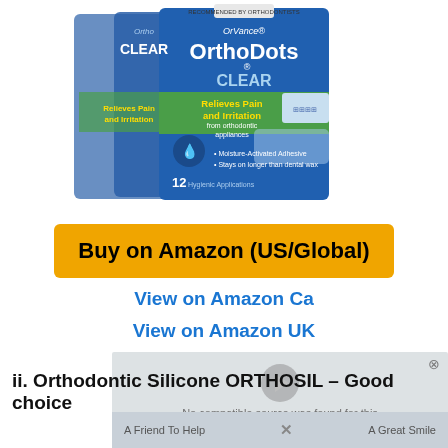[Figure (photo): OrVance OrthoDots CLEAR product boxes - orthodontic wax alternative packaging, multiple boxes shown]
Buy on Amazon (US/Global)
View on Amazon Ca
View on Amazon UK
[Figure (screenshot): Video player overlay showing 'No compatible source was found for this media.' with play button]
ii. Orthodontic Silicone ORTHOSIL – Good choice
[Figure (screenshot): Partially visible banner at bottom: 'A Friend To Help... A Great Smile']